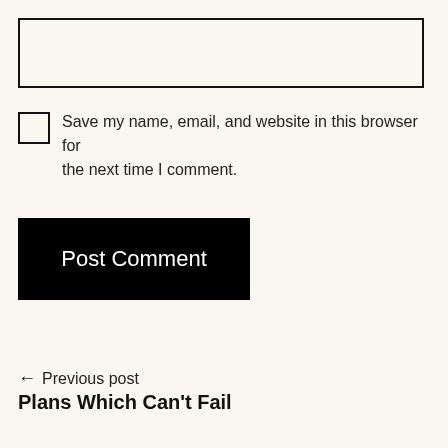[Figure (other): Empty text input box with black border]
Save my name, email, and website in this browser for the next time I comment.
[Figure (other): Black button labeled 'Post Comment']
← Previous post
Plans Which Can't Fail